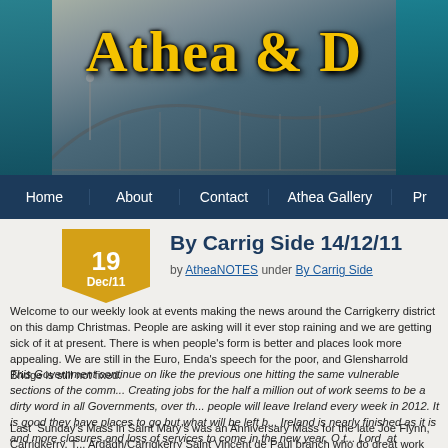[Figure (screenshot): Website header banner showing 'Athea & D' in ornate gold gothic lettering over a background of a bridge and town scene with teal decorative side panels]
Home   About   Contact   Athea Gallery   Pr
By Carrig Side 14/12/11
by AtheaNOTES under By Carrig Side
Welcome to our weekly look at events making the news around the Carrigkerry district on this damp Christmas. People are asking will it ever stop raining and we are getting sick of it at present. There is when people's form is better and places look more appealing. We are still in the Euro, Enda's speech for the poor, and Glensharrold Bridge is still not fixed.
This Government continue on like the previous one hitting the same vulnerable sections of the comm... Creating jobs for the half a million out of work seems to be a dirty word in all Governments, over th... people will leave Ireland every week in 2012. It is good they have places to go but what will be left b... Ireland is nearly finished as it is and more closures and loss of services to come in the new year. O t... Lord at Christmas, to guide Ireland on to the right path.
Last Sunday's Mass in Saint Mary's was an Anniversary Mass for the late Joe Flynn, Carrigkerry. T... Ardagh/Carrigkerry Saint Vincent de Paul branch who do great work behind the scenes to help out t... daily basis.